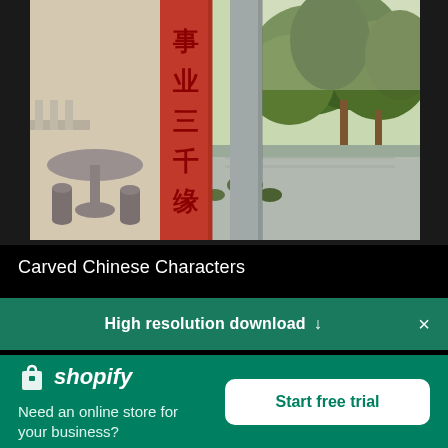[Figure (photo): Photo of a Chinese temple or pavilion area. In the foreground is a prominent red column/pillar with Chinese characters carved/painted on it (事业三千, etc.). Behind it is a grey stone pillar. To the left are stone table and stools. To the right is a stone pathway leading to lush green trees and vegetation. The scene is lit in warm daylight.]
Carved Chinese Characters
High resolution download ↓
shopify
Need an online store for your business?
Start free trial